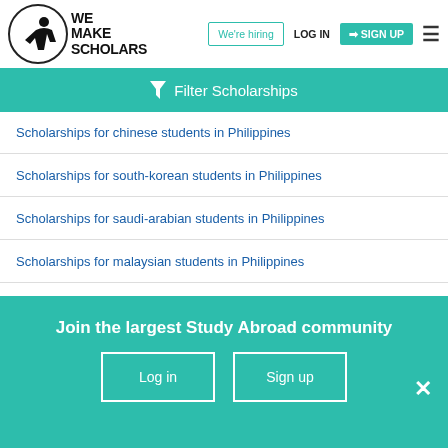[Figure (logo): We Make Scholars logo with circle and figure silhouette]
We're hiring
LOG IN
SIGN UP
Filter Scholarships
Scholarships for chinese students in Philippines
Scholarships for south-korean students in Philippines
Scholarships for saudi-arabian students in Philippines
Scholarships for malaysian students in Philippines
Scholarships for vietnamese students in Philippines
Join the largest Study Abroad community
Log in
Sign up